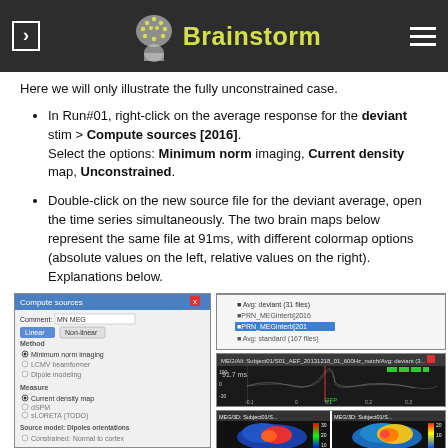Brainstorm
Here we will only illustrate the fully unconstrained case.
In Run#01, right-click on the average response for the deviant stim > Compute sources [2016]. Select the options: Minimum norm imaging, Current density map, Unconstrained.
Double-click on the new source file for the deviant average, open the time series simultaneously. The two brain maps below represent the same file at 91ms, with different colormap options (absolute values on the left, relative values on the right). Explanations below.
[Figure (screenshot): Left: Compute sources dialog with options: Comment MN MEG, Linear/Non-linear buttons, Method: Minimum norm imaging selected, LCMV beamformer, Dipole modeling; Measure: Current density map selected, dSPM, sLORETA (TODO); Source model Dipoles orientations: Constrained Normal to cortex, Loose constraints 0.2, Unconstrained selected; Sensors: MEG checked. Right top: file browser showing Avg deviant files and MN MEG results. Right middle: time series waveform plot at 91.7ms. Right bottom: two 3D brain maps side by side showing source activity colormap (absolute values blue-red on left, relative values blue-yellow on right).]